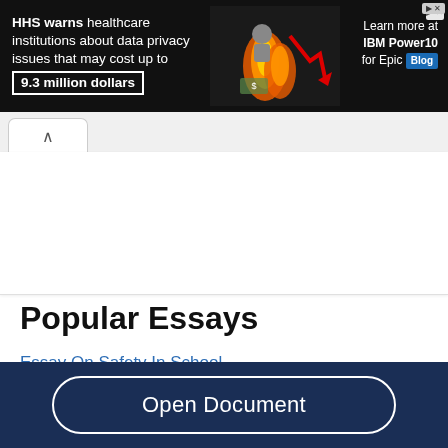[Figure (infographic): Advertisement banner: HHS warns healthcare institutions about data privacy issues that may cost up to 9.3 million dollars. Features a man with flames and a red downward arrow chart. Right side: Learn more at IBM Power10 for Epic Blog.]
Popular Essays
Essay On Safety In School
Wxyz Bank Case Study
Open Document